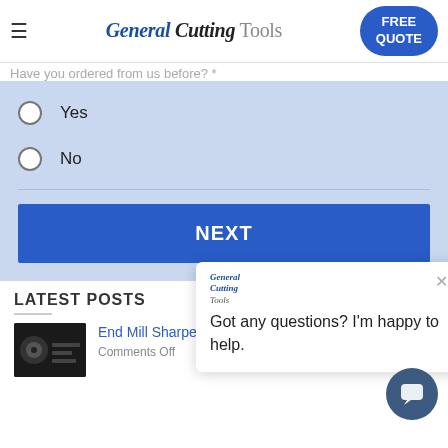General Cutting Tools — FREE QUOTE
Have you ordered from us before? *
Yes
No
NEXT
[Figure (screenshot): Chat popup with General Cutting Tools logo and message: Got any questions? I'm happy to help.]
LATEST POSTS
End Mill Sharpening Service
Comments Off